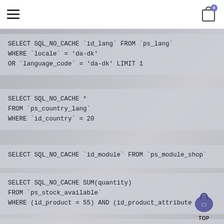☰  [cart icon with badge 0]
SELECT SQL_NO_CACHE `id_lang` FROM `ps_lang` WHERE `locale` = 'da-dk' OR `language_code` = 'da-dk' LIMIT 1
SELECT SQL_NO_CACHE * FROM `ps_country_lang` WHERE `id_country` = 20
SELECT SQL_NO_CACHE `id_module` FROM `ps_module_shop`
SELECT SQL_NO_CACHE SUM(quantity) FROM `ps_stock_available` WHERE (id_product = 55) AND (id_product_attribute = 8)
SELECT SQL_NO_CACHE `enable_device` FROM `ps_mo...sh`